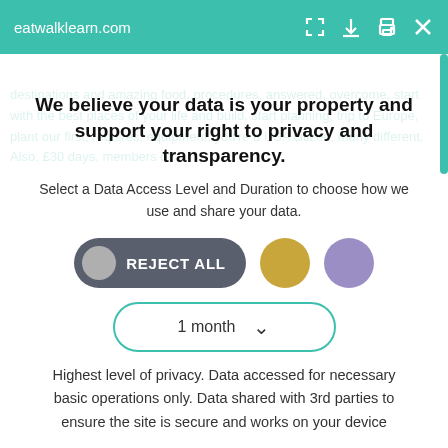eatwalklearn.com
We believe your data is your property and support your right to privacy and transparency.
Select a Data Access Level and Duration to choose how we use and share your data.
[Figure (infographic): Three consent options: 'REJECT ALL' toggle button (dark gray with gray circle), a gold circle option, and a purple circle option. Below them a dropdown selector showing '1 month' with a chevron.]
Highest level of privacy. Data accessed for necessary basic operations only. Data shared with 3rd parties to ensure the site is secure and works on your device
Save my preferences